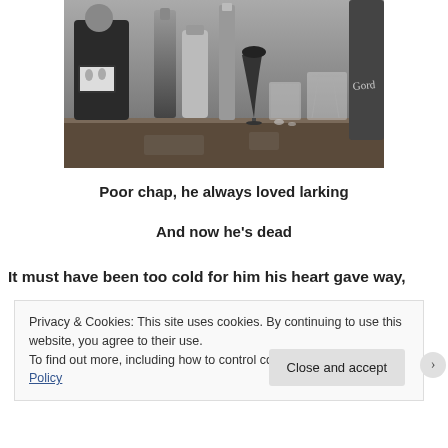[Figure (photo): Black and white photograph of drinks and bottles on a bar, including glasses of various sizes, a cocktail shaker, Gordon's gin bottle, and a smartphone/tablet visible in the background with a person in a tuxedo.]
Poor chap, he always loved larking
And now he's dead
It must have been too cold for him his heart gave way,
Privacy & Cookies: This site uses cookies. By continuing to use this website, you agree to their use.
To find out more, including how to control cookies, see here: Cookie Policy
Close and accept